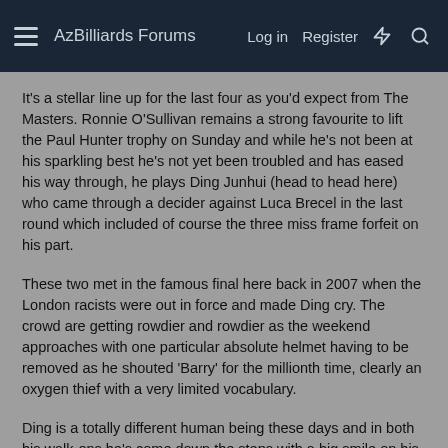AzBilliards Forums  Log in  Register
It's a stellar line up for the last four as you'd expect from The Masters. Ronnie O'Sullivan remains a strong favourite to lift the Paul Hunter trophy on Sunday and while he's not been at his sparkling best he's not yet been troubled and has eased his way through, he plays Ding Junhui (head to head here) who came through a decider against Luca Brecel in the last round which included of course the three miss frame forfeit on his part.
These two met in the famous final here back in 2007 when the London racists were out in force and made Ding cry. The crowd are getting rowdier and rowdier as the weekend approaches with one particular absolute helmet having to be removed as he shouted 'Barry' for the millionth time, clearly an oxygen thief with a very limited vocabulary.
Ding is a totally different human being these days and in both his walk-ons he's come down the steps with a big smile on his face and fist-pumping people who aren't even asking for one, I